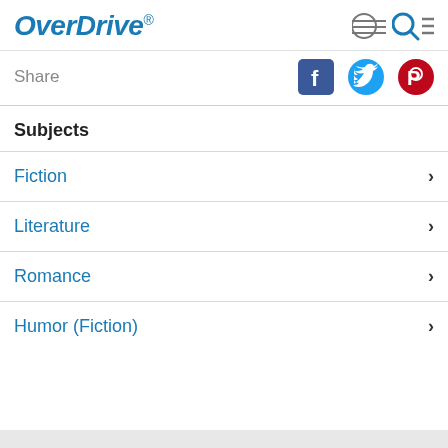OverDrive
Share
Subjects
Fiction
Literature
Romance
Humor (Fiction)